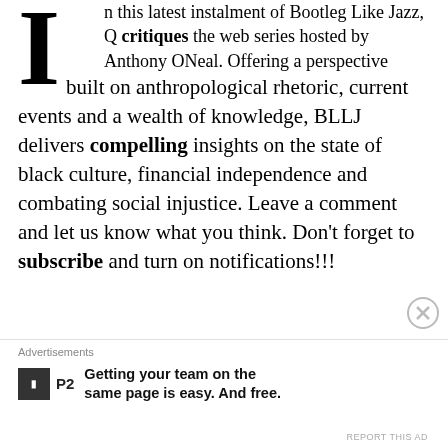In this latest instalment of Bootleg Like Jazz, Q critiques the web series hosted by Anthony ONeal. Offering a perspective built on anthropological rhetoric, current events and a wealth of knowledge, BLLJ delivers compelling insights on the state of black culture, financial independence and combating social injustice. Leave a comment and let us know what you think. Don't forget to subscribe and turn on notifications!!!
Director of Photography: Alex Q of Bold Media
Music by: Matthew Hartnett from the album